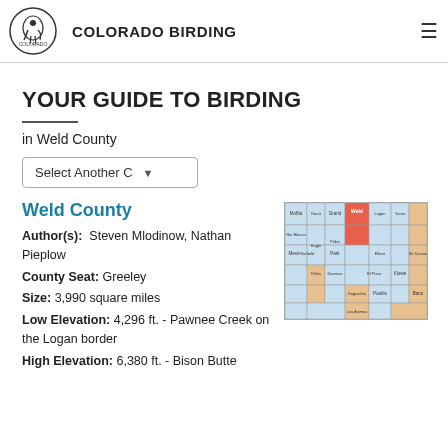COLORADO BIRDING
YOUR GUIDE TO BIRDING
in Weld County
Select Another C ▾
Weld County
Author(s): Steven Mlodinow, Nathan Pieplow
County Seat: Greeley
Size: 3,990 square miles
Low Elevation: 4,296 ft. - Pawnee Creek on the Logan border
High Elevation: 6,380 ft. - Bison Butte
[Figure (map): Colorado county map with Weld County highlighted in red/orange]